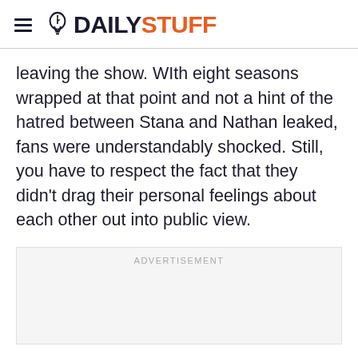DAILYSTUFF
leaving the show. WIth eight seasons wrapped at that point and not a hint of the hatred between Stana and Nathan leaked, fans were understandably shocked. Still, you have to respect the fact that they didn't drag their personal feelings about each other out into public view.
ADVERTISEMENT